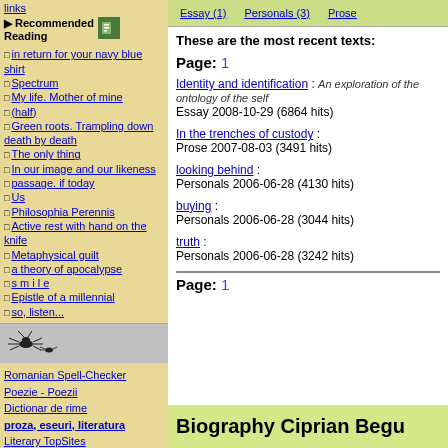links
▶ Recommended Reading
in return for your navy blue shirt
Spectrum
My life. Mother of mine
(half)
Green roots. Trampling down death by death
The only thing
In our image and our likeness
passage. if today
Us
Philosophia Perennis
Active rest with hand on the knife
Metaphysical guilt
a theory of apocalypse
s m i l e
Epistle of a millennial
so, listen...
Romanian Spell-Checker
Poezie - Poezii
Dictionar de rime
proza, eseuri, literatura
Literary TopSites
noutati IT, jocuri
These are the most recent texts:
Page: 1
Identity and identification : An exploration of the ontology of the self Essay 2008-10-29 (6864 hits)
In the trenches of custody : Prose 2007-08-03 (3491 hits)
looking behind : Personals 2006-06-28 (4130 hits)
buying : Personals 2006-06-28 (3044 hits)
truth : Personals 2006-06-28 (3242 hits)
Page: 1
Biography Ciprian Begu